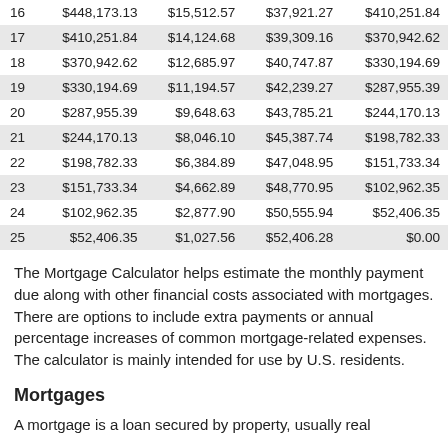| Year | Balance | Interest | Principal | End Balance |
| --- | --- | --- | --- | --- |
| 16 | $448,173.13 | $15,512.57 | $37,921.27 | $410,251.84 |
| 17 | $410,251.84 | $14,124.68 | $39,309.16 | $370,942.62 |
| 18 | $370,942.62 | $12,685.97 | $40,747.87 | $330,194.69 |
| 19 | $330,194.69 | $11,194.57 | $42,239.27 | $287,955.39 |
| 20 | $287,955.39 | $9,648.63 | $43,785.21 | $244,170.13 |
| 21 | $244,170.13 | $8,046.10 | $45,387.74 | $198,782.33 |
| 22 | $198,782.33 | $6,384.89 | $47,048.95 | $151,733.34 |
| 23 | $151,733.34 | $4,662.89 | $48,770.95 | $102,962.35 |
| 24 | $102,962.35 | $2,877.90 | $50,555.94 | $52,406.35 |
| 25 | $52,406.35 | $1,027.56 | $52,406.28 | $0.00 |
The Mortgage Calculator helps estimate the monthly payment due along with other financial costs associated with mortgages. There are options to include extra payments or annual percentage increases of common mortgage-related expenses. The calculator is mainly intended for use by U.S. residents.
Mortgages
A mortgage is a loan secured by property, usually real